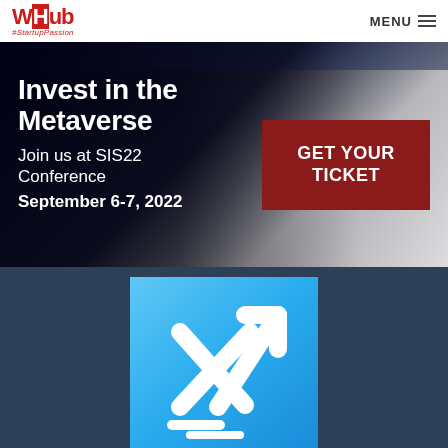[Figure (logo): WHub #StartupPassion logo in red and white]
MENU ≡
Invest in the Metaverse
Join us at SIS22 Conference
September 6-7, 2022
GET YOUR TICKET
[Figure (logo): SIS22 Conference logo - white X and arrow mark on blue gradient background]